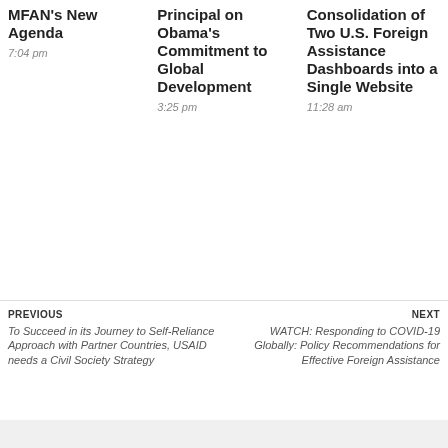MFAN's New Agenda
7:04 pm
Principal on Obama's Commitment to Global Development
3:25 pm
Consolidation of Two U.S. Foreign Assistance Dashboards into a Single Website
11:28 am
PREVIOUS
To Succeed in its Journey to Self-Reliance Approach with Partner Countries, USAID needs a Civil Society Strategy
NEXT
WATCH: Responding to COVID-19 Globally: Policy Recommendations for Effective Foreign Assistance